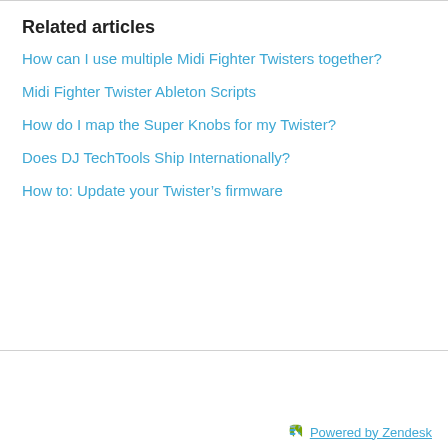Related articles
How can I use multiple Midi Fighter Twisters together?
Midi Fighter Twister Ableton Scripts
How do I map the Super Knobs for my Twister?
Does DJ TechTools Ship Internationally?
How to: Update your Twister’s firmware
DJ Techtools
Powered by Zendesk